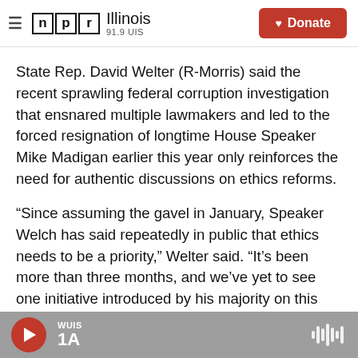NPR Illinois 91.9 UIS — Donate
State Rep. David Welter (R-Morris) said the recent sprawling federal corruption investigation that ensnared multiple lawmakers and led to the forced resignation of longtime House Speaker Mike Madigan earlier this year only reinforces the need for authentic discussions on ethics reforms.
“Since assuming the gavel in January, Speaker Welch has said repeatedly in public that ethics needs to be a priority,” Welter said. “It’s been more than three months, and we’ve yet to see one initiative introduced by his majority on this topic.
WUIS 1A